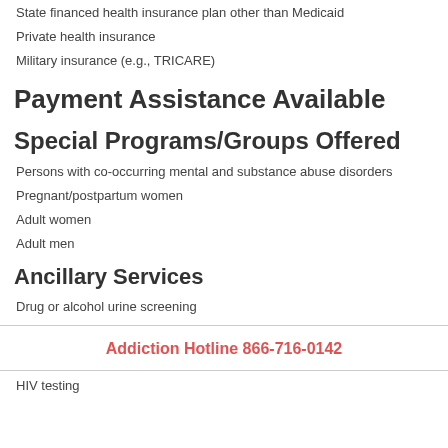State financed health insurance plan other than Medicaid
Private health insurance
Military insurance (e.g., TRICARE)
Payment Assistance Available
Special Programs/Groups Offered
Persons with co-occurring mental and substance abuse disorders
Pregnant/postpartum women
Adult women
Adult men
Ancillary Services
Drug or alcohol urine screening
Addiction Hotline 866-716-0142
HIV testing